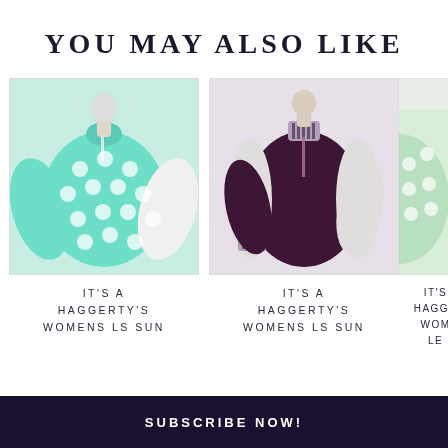YOU MAY ALSO LIKE
[Figure (photo): Mint green polka dot long-sleeve sun shirt on a mannequin]
[Figure (photo): Dark plum/purple long-sleeve athletic shirt with white side panels and striped collar on a mannequin]
[Figure (photo): Partial view of a third product shirt, cut off at right edge]
IT'S A HAGGERTY'S WOMENS LS SUN
IT'S A HAGGERTY'S WOMENS LS SUN
IT'S HAGGE WOM LE
SUBSCRIBE NOW!